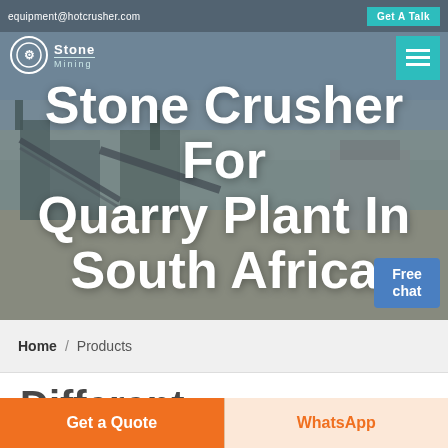equipment@hotcrusher.com  Get A Talk
[Figure (screenshot): Stone crusher quarry plant industrial site with conveyor belts and machinery, used as hero background image]
Stone Crusher For Quarry Plant In South Africa
[Figure (logo): Stone Mining company logo with circular icon and text]
Free chat
Home / Products
Different Machines To Meet All
Get a Quote
WhatsApp